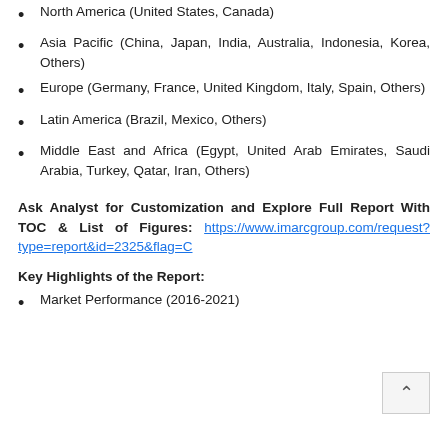North America (United States, Canada)
Asia Pacific (China, Japan, India, Australia, Indonesia, Korea, Others)
Europe (Germany, France, United Kingdom, Italy, Spain, Others)
Latin America (Brazil, Mexico, Others)
Middle East and Africa (Egypt, United Arab Emirates, Saudi Arabia, Turkey, Qatar, Iran, Others)
Ask Analyst for Customization and Explore Full Report With TOC & List of Figures: https://www.imarcgroup.com/request?type=report&id=2325&flag=C
Key Highlights of the Report:
Market Performance (2016-2021)